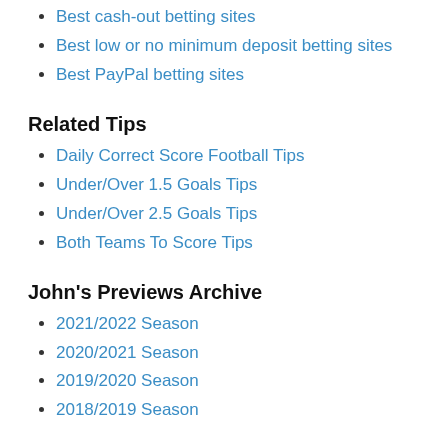Best cash-out betting sites
Best low or no minimum deposit betting sites
Best PayPal betting sites
Related Tips
Daily Correct Score Football Tips
Under/Over 1.5 Goals Tips
Under/Over 2.5 Goals Tips
Both Teams To Score Tips
John's Previews Archive
2021/2022 Season
2020/2021 Season
2019/2020 Season
2018/2019 Season